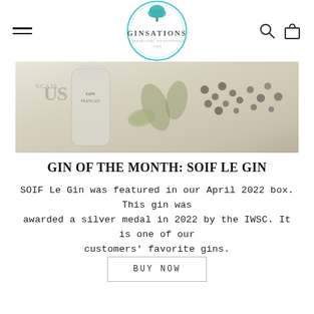[Figure (logo): Ginsations logo — circular teal border with a tree illustration above the brand name GINSATIONS and tagline]
[Figure (photo): Hero banner image showing a gin bottle labeled with French text (GIN FRANÇAIS) surrounded by botanicals including juniper berries, cucumber/celery slices on a light background]
GIN OF THE MONTH: SOIF LE GIN
SOIF Le Gin was featured in our April 2022 box. This gin was awarded a silver medal in 2022 by the IWSC. It is one of our customers' favorite gins.
BUY NOW